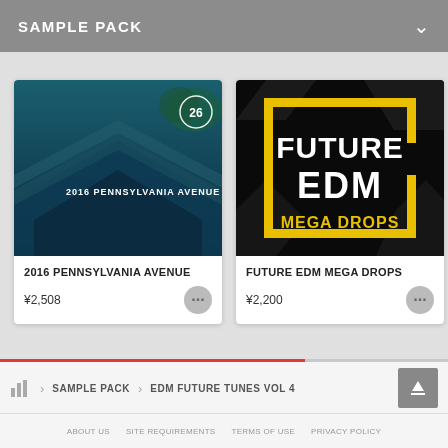SAMPLE PACK
[Figure (illustration): Album art for '2016 Pennsylvania Avenue' — dark blue teal photo of building rooftop with arrow/chevron shapes, circle badge with '26']
2016 PENNSYLVANIA AVENUE
¥2,508
[Figure (illustration): Album art for 'Future EDM Mega Drops' — black background with yellow bracket design, bold white text 'FUTURE EDM' and gold text 'MEGA DROPS']
FUTURE EDM MEGA DROPS
¥2,200
[Figure (illustration): Partial album art — teal/green gradient, partially visible]
D...
¥1...
SAMPLE PACK > EDM FUTURE TUNES VOL 4
ABOUT US   SITE REQUIREMENTS   TERMS OF USE   PRIVACY POLICY